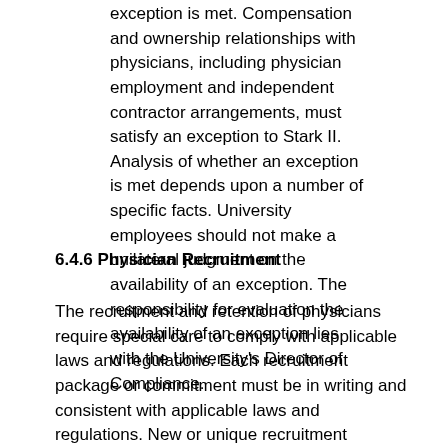exception is met. Compensation and ownership relationships with physicians, including physician employment and independent contractor arrangements, must satisfy an exception to Stark II. Analysis of whether an exception is met depends upon a number of specific facts. University employees should not make a unilateral judgment on the availability of an exception. The responsibility for evaluation the availability of an exception lies with the University's Director of Compliance.
6.4.6 Physician Recruitment
The recruitment and retention of physicians require special care to comply with applicable laws and regulations. Each recruitment package or commitment must be in writing and consistent with applicable laws and regulations. New or unique recruitment arrangements must comply with Board of Regents policy and must be reviewed by the Director of Compliance and...